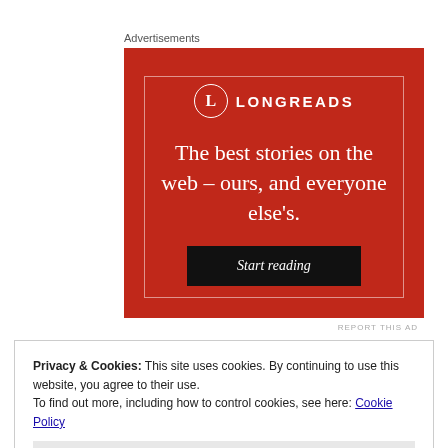Advertisements
[Figure (illustration): Longreads advertisement banner with red background. Shows the Longreads logo (circle with L), the text 'The best stories on the web – ours, and everyone else's.' and a black 'Start reading' button.]
REPORT THIS AD
Privacy & Cookies: This site uses cookies. By continuing to use this website, you agree to their use.
To find out more, including how to control cookies, see here: Cookie Policy
Close and accept